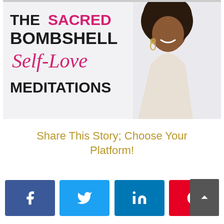[Figure (illustration): Promotional banner for 'The Sacred Bombshell Self-Love Meditations' featuring bold black and pink text on a light background with a smiling Black woman with curly hair on the right side.]
Share This Story; Choose Your Platform!